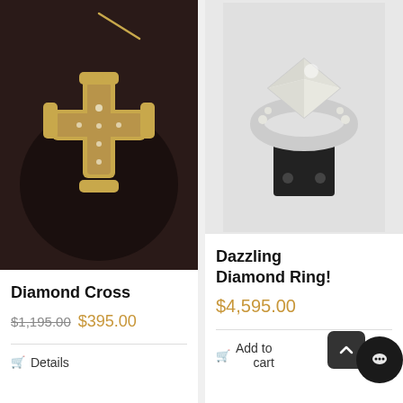[Figure (photo): Gold diamond cross pendant necklace on dark display stand]
Diamond Cross
$1,195.00  $395.00
[Figure (photo): Dazzling diamond ring on black ring stand against light background]
Dazzling Diamond Ring!
$4,595.00
Add to cart